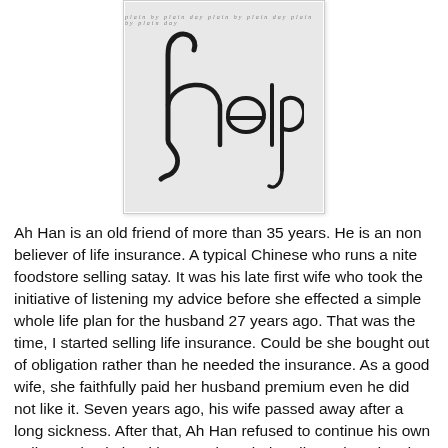[Figure (illustration): Black and white photograph/illustration showing the word 'help' written in gothic/blackletter calligraphy with a large decorative 'h' that extends upward like a hook or fishhook shape, on a light background with cursive handwriting text at the top]
Ah Han is an old friend of more than 35 years. He is an non believer of life insurance. A typical Chinese who runs a nite foodstore selling satay. It was his late first wife who took the initiative of listening my advice before she effected a simple whole life plan for the husband 27 years ago. That was the time, I started selling life insurance. Could be she bought out of obligation rather than he needed the insurance. As a good wife, she faithfully paid her husband premium even he did not like it. Seven years ago, his wife passed away after a long sickness. After that, Ah Han refused to continue his own policy and quietly without my knowledge discontinued and